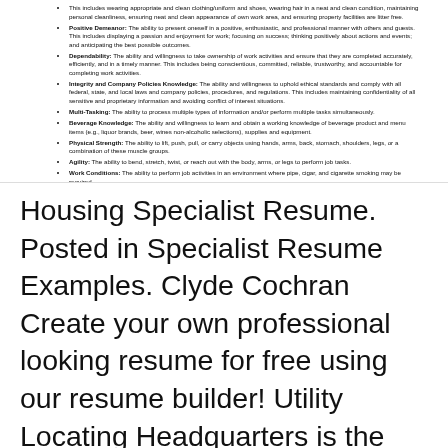This includes wearing appropriate and clean clothing/uniform and shoes, wearing hair in a neat and clean condition, maintaining personal cleanliness, ensuring neat and clean appearance of own work area, and ensuring property facilities are litter free.
Positive Demeanor: The ability to present oneself in a positive, enthusiastic, and professional manner with others and guests. This includes displaying a passion and enjoyment for work; focusing on success; thinking positively about actions and events; and anticipating the best possible outcomes.
Dependability: The ability and willingness to take ownership of work activities and ensure that they are completed accurately, efficiently, and in a timely manner. This includes being conscientious, committed, reliable, trustworthy, and accountable for completing work activities.
Integrity and Company Policies Knowledge: The ability and willingness to uphold ethical standards and comply with all federal, state, and local laws and company policies, procedures, and regulations. This includes maintaining confidentiality of all sensitive and proprietary information and avoiding conflict of interest situations.
Multi-Tasking: The ability to process multiple types of information and/or perform multiple tasks simultaneously.
Beverage Knowledge: The ability and willingness to learn and obtain a working knowledge of beverage product and menu items (e.g., liquor brands, beer, wines non-alcoholic selections), supplies and equipment.
Physical Strength: The ability to lift, push, pull, or carry objects using hands, arms, back, stomach, shoulders, legs, or a combination of these muscle groups.
Agility: The ability to bend, stretch, twist, or reach out with the body, arms, or legs to perform job tasks.
Work Conditions: The ability to perform job activities in an environment where pipe, cigar, and cigarette smoking may be required.
Housing Specialist Resume. Posted in Specialist Resume Examples. Clyde Cochran Create your own professional looking resume for free using our resume builder! Utility Locating Headquarters is the premiere resource for Locating Underground Utilities and Damage Prevention. Home >> utility locating sample resume.